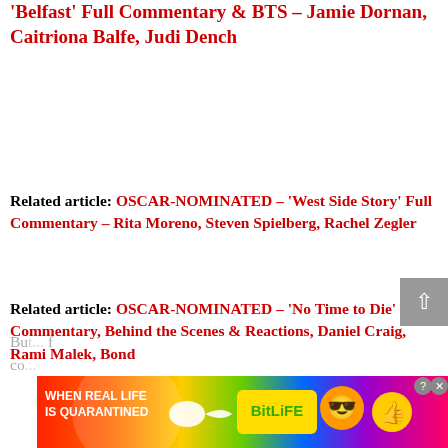'Belfast' Full Commentary & BTS – Jamie Dornan, Caitriona Balfe, Judi Dench
Related article: OSCAR-NOMINATED – 'West Side Story' Full Commentary – Rita Moreno, Steven Spielberg, Rachel Zegler
Related article: OSCAR-NOMINATED – 'No Time to Die' Full Commentary, Behind the Scenes & Reactions, Daniel Craig, Rami Malek, Bond
[Figure (screenshot): Advertisement banner: 'When Real Life Is Quarantined' BitLife game ad with rainbow background, mascot emoji, and close/help buttons]
Bu... f co...